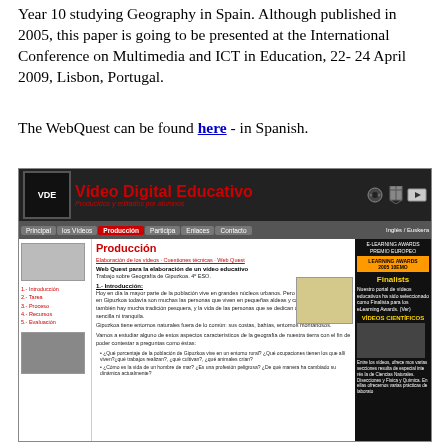Year 10 studying Geography in Spain. Although published in 2005, this paper is going to be presented at the International Conference on Multimedia and ICT in Education, 22- 24 April 2009, Lisbon, Portugal.
The WebQuest can be found here - in Spanish.
[Figure (screenshot): Screenshot of the 'Video Digital Educativo' website showing the Producción page, with navigation bar, sidebar links (Introducción, Tarea, Proceso, Recursos, Evaluación), main content about a Web Quest for geography of Gipuzkoa, and a right sidebar with E-Learning Awards 2005 Finalists badge.]